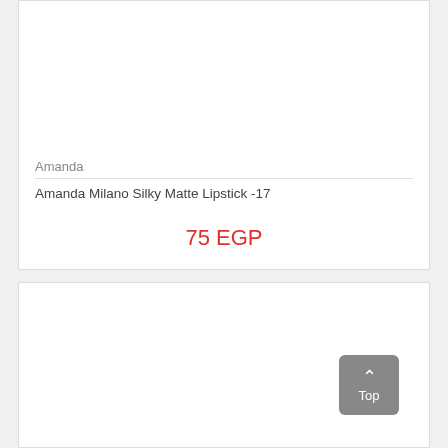Amanda
Amanda Milano Silky Matte Lipstick -17
75 EGP